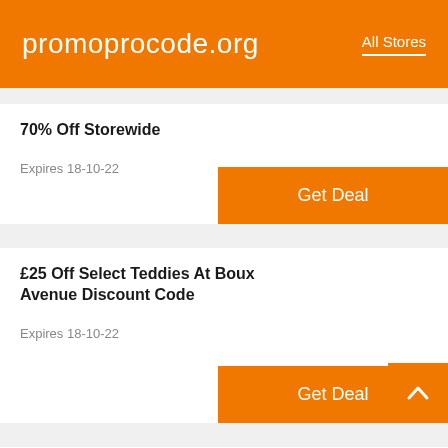promoprocode.org | All Stores
70% Off Storewide
Expires 18-10-22
£25 Off Select Teddies At Boux Avenue Discount Code
Expires 18-10-22
£20 Off Select Glamour Robes